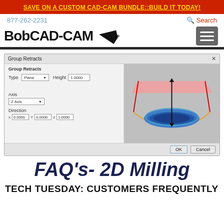SAVE ON A CUSTOM CAD-CAM BUNDLE::BUILD IT TODAY!
877-262-2231  Search
[Figure (logo): BobCAD-CAM logo with arrow/rocket icon]
[Figure (screenshot): Group Retracts dialog box from BobCAD-CAM software showing Type: Plane, Height: 1.0000, Axis: Z Axis, Direction X 0.0000 Y 0.0000 Z 1.0000, with a 3D visualization of retract planes above a machined bowl shape]
FAQ’s- 2D Milling
TECH TUESDAY: CUSTOMERS FREQUENTLY